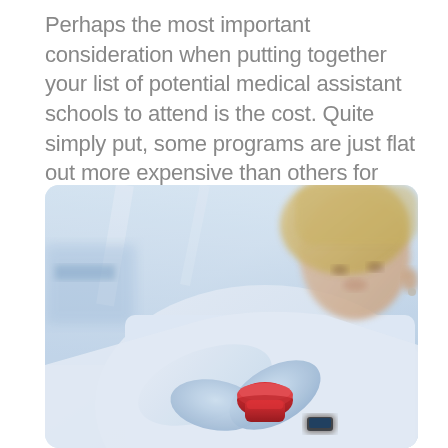Perhaps the most important consideration when putting together your list of potential medical assistant schools to attend is the cost. Quite simply put, some programs are just flat out more expensive than others for essentially the same certification.
[Figure (photo): A female lab technician or medical professional wearing a white coat and gloves, working with a red-capped specimen container or vial in a clinical/laboratory setting. The image has a cool blue-white color tone.]